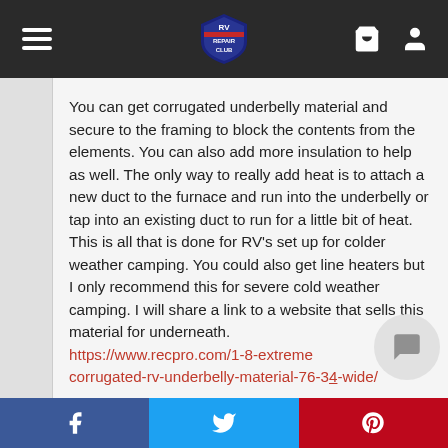RV Repair Club - navigation bar with logo, hamburger menu, cart and user icons
You can get corrugated underbelly material and secure to the framing to block the contents from the elements. You can also add more insulation to help as well. The only way to really add heat is to attach a new duct to the furnace and run into the underbelly or tap into an existing duct to run for a little bit of heat. This is all that is done for RV’s set up for colder weather camping. You could also get line heaters but I only recommend this for severe cold weather camping. I will share a link to a website that sells this material for underneath. https://www.recpro.com/1-8-extreme-corrugated-rv-underbelly-material-76-34-wide/
Facebook | Twitter | Pinterest